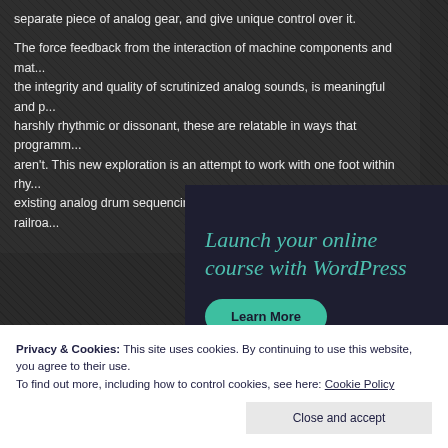separate piece of analog gear, and give unique control over it.
The force feedback from the interaction of machine components and mat... the integrity and quality of scrutinized analog sounds, is meaningful and p... harshly rhythmic or dissonant, these are relatable in ways that programm... aren't. This new exploration is an attempt to work with one foot within rhy... existing analog drum sequencing, while dragging a tire iron on the railroa...
[Figure (screenshot): Advertisement box with teal/dark background: 'Launch your online course with WordPress' heading and 'Learn More' button]
Privacy & Cookies: This site uses cookies. By continuing to use this website, you agree to their use.
To find out more, including how to control cookies, see here: Cookie Policy
Close and accept